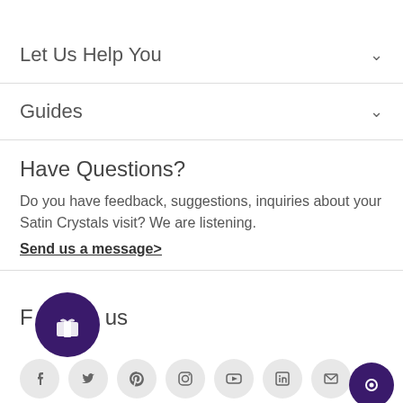Let Us Help You
Guides
Have Questions?
Do you have feedback, suggestions, inquiries about your Satin Crystals visit? We are listening.
Send us a message>
Follow us
[Figure (illustration): Social media icons: Facebook, Twitter, Pinterest, Instagram, YouTube, LinkedIn, Email]